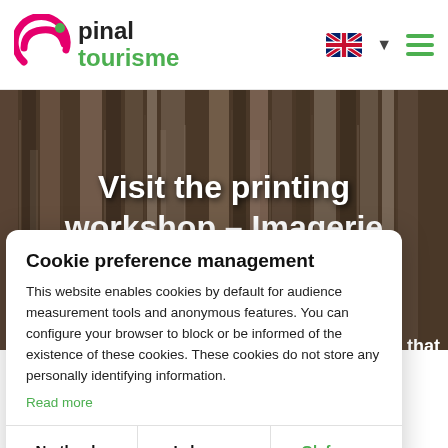[Figure (logo): Épinal Tourisme logo with stylized pink 'e' and green 'tourisme' text]
[Figure (photo): Background photo of printing workshop blocks/type, dark wooden textures]
Visit the printing workshop – Imagerie d'Épinal
Cookie preference management
This website enables cookies by default for audience measurement tools and anonymous features. You can configure your browser to block or be informed of the existence of these cookies. These cookies do not store any personally identifying information.
Read more
No thanks
I choose
Ok for me